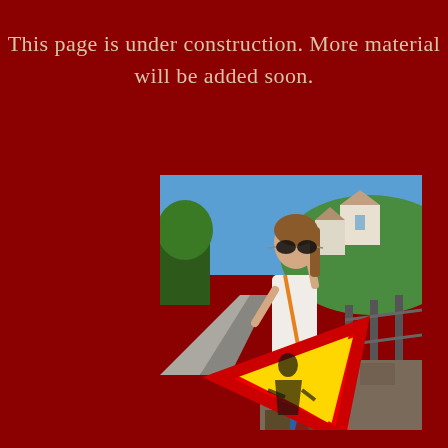This page is under construction. More material will be added soon.
[Figure (photo): A young woman wearing sunglasses and a colorful maxi skirt sits on a stone wall outdoors, holding a red and yellow triangular road construction warning sign. Behind her is a road, green hillside, trees, and Alpine-style buildings under a blue sky.]